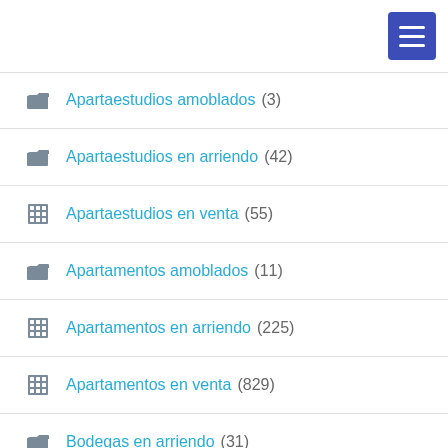Apartaestudios amoblados (3)
Apartaestudios en arriendo (42)
Apartaestudios en venta (55)
Apartamentos amoblados (11)
Apartamentos en arriendo (225)
Apartamentos en venta (829)
Bodegas en arriendo (31)
Bodegas en venta (18)
Cabañas en arriendo (1)
Cabañas en venta (42)
Casa campestre en arriendo (3)